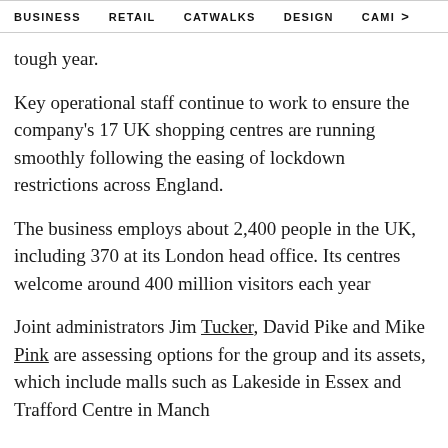BUSINESS   RETAIL   CATWALKS   DESIGN   CAMI >
tough year.
Key operational staff continue to work to ensure the company's 17 UK shopping centres are running smoothly following the easing of lockdown restrictions across England.
The business employs about 2,400 people in the UK, including 370 at its London head office. Its centres welcome around 400 million visitors each year
Joint administrators Jim Tucker, David Pike and Mike Pink are assessing options for the group and its assets, which include malls such as Lakeside in Essex and Trafford Centre in Manch...